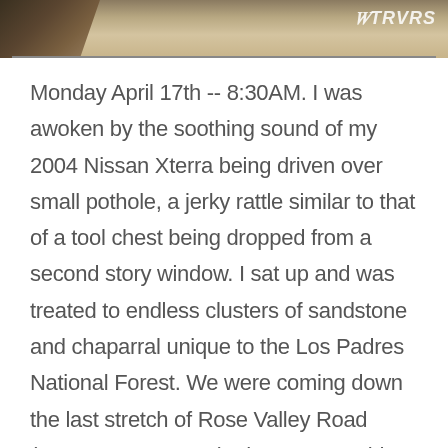[Figure (photo): Partial outdoor photo showing sandy/rocky terrain with vegetation, watermark reading 'TRVRS' in white italic text in upper right corner]
Monday April 17th -- 8:30AM. I was awoken by the soothing sound of my 2004 Nissan Xterra being driven over small pothole, a jerky rattle similar to that of a tool chest being dropped from a second story window. I sat up and was treated to endless clusters of sandstone and chaparral unique to the Los Padres National Forest. We were coming down the last stretch of Rose Valley Road (Forest Route 6N31) where we would soon pass the Middle Lion Campground junction before the final descent into the